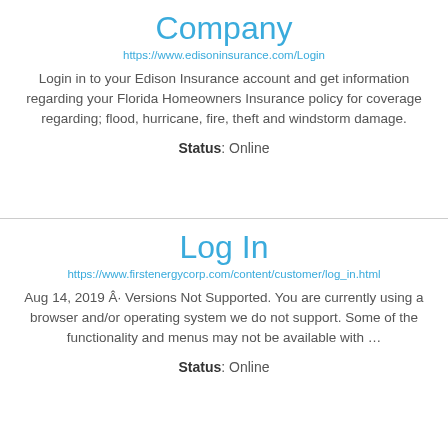Company
https://www.edisoninsurance.com/Login
Login in to your Edison Insurance account and get information regarding your Florida Homeowners Insurance policy for coverage regarding; flood, hurricane, fire, theft and windstorm damage.
Status: Online
Log In
https://www.firstenergycorp.com/content/customer/log_in.html
Aug 14, 2019 Â· Versions Not Supported. You are currently using a browser and/or operating system we do not support. Some of the functionality and menus may not be available with …
Status: Online